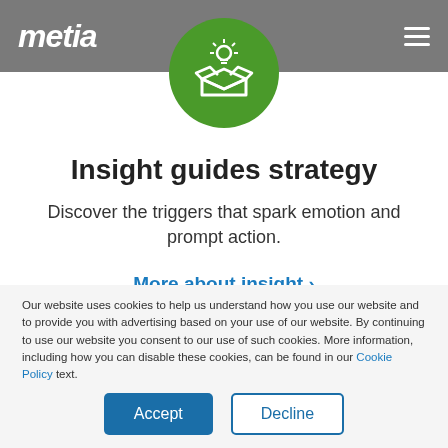metia
[Figure (illustration): Green circle with white icon of an open box with a light bulb above it]
Insight guides strategy
Discover the triggers that spark emotion and prompt action.
More about insight >
Our website uses cookies to help us understand how you use our website and to provide you with advertising based on your use of our website. By continuing to use our website you consent to our use of such cookies. More information, including how you can disable these cookies, can be found in our Cookie Policy text.
Accept
Decline